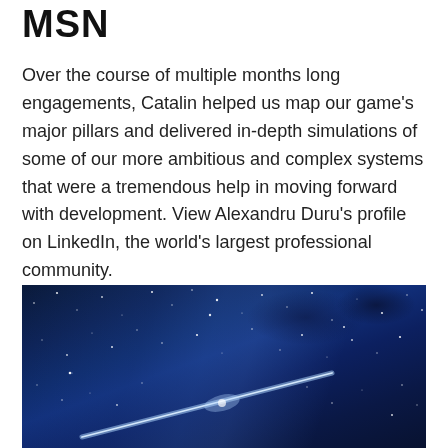MSN
Over the course of multiple months long engagements, Catalin helped us map our game's major pillars and delivered in-depth simulations of some of our more ambitious and complex systems that were a tremendous help in moving forward with development. View Alexandru Duru's profile on LinkedIn, the world's largest professional community.
[Figure (photo): Night sky photograph showing a bright meteor/shooting star streak diagonally across a deep blue starry sky with dark nebula clouds and Milky Way visible in the background.]